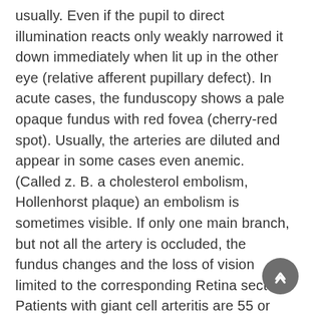usually. Even if the pupil to direct illumination reacts only weakly narrowed it down immediately when lit up in the other eye (relative afferent pupillary defect). In acute cases, the funduscopy shows a pale opaque fundus with red fovea (cherry-red spot). Usually, the arteries are diluted and appear in some cases even anemic. (Called z. B. a cholesterol embolism, Hollenhorst plaque) an embolism is sometimes visible. If only one main branch, but not all the artery is occluded, the fundus changes and the loss of vision limited to the corresponding Retina sector. Patients with giant cell arteritis are 55 or older and headaches, sensitive and palpabele temporal artery, jaw claudication, fatigue, or a combination of these may have. Diagnosis Clinical Investigation color fundus photography and fluorescein angiography Diagnosis is suspected when a patient has an acute, painless, severe visual loss. Usually a Funduscopy confirmed the diagnosis. The